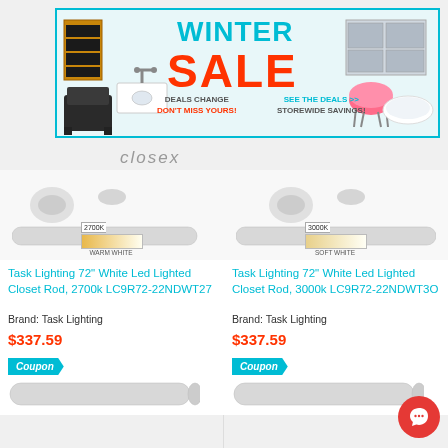[Figure (infographic): Winter Sale banner with cyan border showing furniture and bathroom products, 'WINTER' in cyan, 'SALE' in red, deals information]
[Figure (logo): closex brand logo in italic gray text]
[Figure (photo): Left product: Task Lighting closet rod with 2700K warm white color temperature swatch]
Task Lighting 72" White Led Lighted Closet Rod, 2700k LC9R72-22NDWT27
Brand: Task Lighting
$337.59
Coupon
[Figure (photo): Right product: Task Lighting closet rod with 3000K soft white color temperature swatch]
Task Lighting 72" White Led Lighted Closet Rod, 3000k LC9R72-22NDWT3O
Brand: Task Lighting
$337.59
Coupon